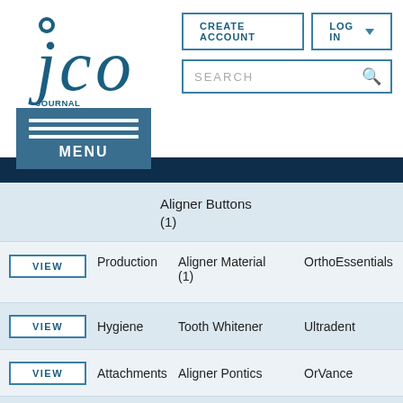[Figure (logo): JCO Journal of Clinical Orthodontics logo — teal circle with stylized letters, text below]
CREATE ACCOUNT
LOG IN
SEARCH
MENU
Aligner Buttons (1)
Production	Aligner Material (1)	OrthoEssentials
Hygiene	Tooth Whitener	Ultradent
Attachments	Aligner Pontics	OrVance
Hygiene	Sterilization	3M